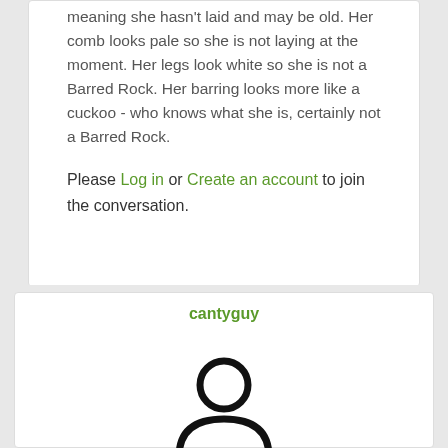meaning she hasn't laid and may be old. Her comb looks pale so she is not laying at the moment. Her legs look white so she is not a Barred Rock. Her barring looks more like a cuckoo - who knows what she is, certainly not a Barred Rock.
Please Log in or Create an account to join the conversation.
cantyguy
[Figure (illustration): Generic user avatar icon — outline of a person (circle head and semicircle body) in black on white background]